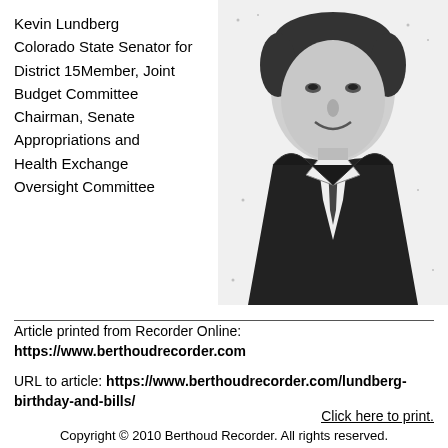Kevin Lundberg
Colorado State Senator for District 15Member, Joint Budget Committee
Chairman, Senate Appropriations and Health Exchange Oversight Committee
[Figure (photo): Black and white halftone photograph of Kevin Lundberg, a man in a suit and tie, smiling, head and shoulders portrait.]
Article printed from Recorder Online:
https://www.berthoudrecorder.com

URL to article: https://www.berthoudrecorder.com/lundberg-birthday-and-bills/
Click here to print.
Copyright © 2010 Berthoud Recorder. All rights reserved.